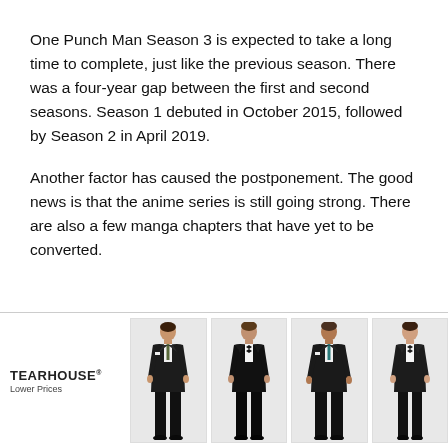One Punch Man Season 3 is expected to take a long time to complete, just like the previous season. There was a four-year gap between the first and second seasons. Season 1 debuted in October 2015, followed by Season 2 in April 2019.
Another factor has caused the postponement. The good news is that the anime series is still going strong. There are also a few manga chapters that have yet to be converted.
[Figure (photo): Advertisement banner showing four men in formal suits/tuxedos with a logo reading 'TEARHOUSE' and 'Lower Prices']